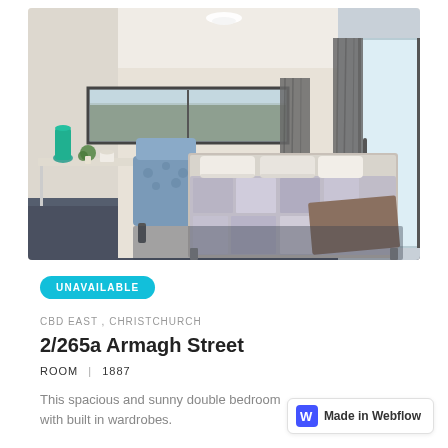[Figure (photo): Interior photo of a furnished double bedroom with a double bed, blue patterned desk chair, small side desk with teal vase and small potted plant, two windows — a horizontal low window on the left with dark curtains, and a tall glass sliding door on the right with dark curtains. Neutral cream/white walls and dark floor. Bed has white pillows and grey/blue patterned duvet with a brown throw.]
UNAVAILABLE
CBD EAST , CHRISTCHURCH
2/265a Armagh Street
ROOM | 1887
This spacious and sunny double bedroom with built in wardrobes.